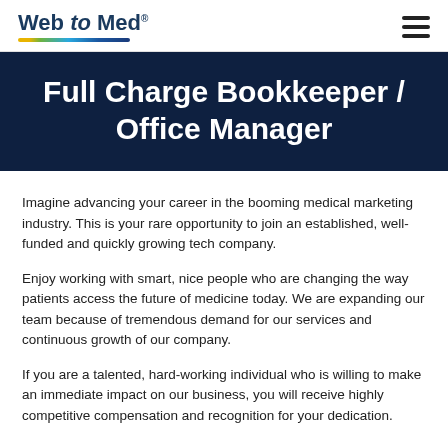Web to Med
Full Charge Bookkeeper / Office Manager
Imagine advancing your career in the booming medical marketing industry. This is your rare opportunity to join an established, well-funded and quickly growing tech company.
Enjoy working with smart, nice people who are changing the way patients access the future of medicine today. We are expanding our team because of tremendous demand for our services and continuous growth of our company.
If you are a talented, hard-working individual who is willing to make an immediate impact on our business, you will receive highly competitive compensation and recognition for your dedication.